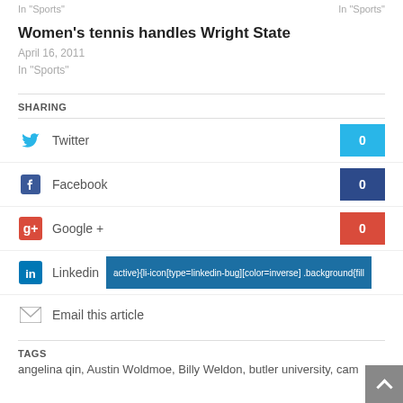In "Sports"   In "Sports"
Women's tennis handles Wright State
April 16, 2011
In "Sports"
SHARING
Twitter 0
Facebook 0
Google + 0
Linkedin active}{li-icon[type=linkedin-bug][color=inverse] .background{fill
Email this article
TAGS
angelina qin, Austin Woldmoe, Billy Weldon, butler university, cam